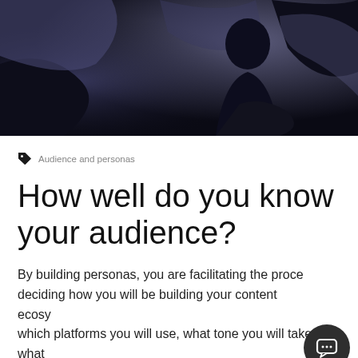[Figure (photo): Dark moody hero image showing a silhouette of a person against a dark blue-black background with abstract shapes]
Audience and personas
How well do you know your audience?
By building personas, you are facilitating the process of deciding how you will be building your content ecosystem, which platforms you will use, what tone you will take, what